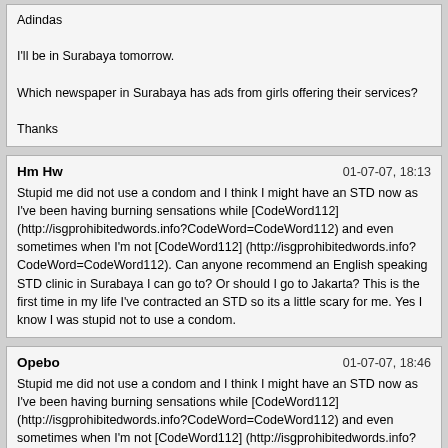Adindas

I'll be in Surabaya tomorrow.

Which newspaper in Surabaya has ads from girls offering their services?

Thanks
Hm Hw
01-07-07, 18:13
Stupid me did not use a condom and I think I might have an STD now as I've been having burning sensations while [CodeWord112] (http://isgprohibitedwords.info?CodeWord=CodeWord112) and even sometimes when I'm not [CodeWord112] (http://isgprohibitedwords.info?CodeWord=CodeWord112). Can anyone recommend an English speaking STD clinic in Surabaya I can go to? Or should I go to Jakarta? This is the first time in my life I've contracted an STD so its a little scary for me. Yes I know I was stupid not to use a condom.
Opebo
01-07-07, 18:46
Stupid me did not use a condom and I think I might have an STD now as I've been having burning sensations while [CodeWord112] (http://isgprohibitedwords.info?CodeWord=CodeWord112) and even sometimes when I'm not [CodeWord112] (http://isgprohibitedwords.info?CodeWord=CodeWord112). Can anyone recommend an English speaking STD clinic in Surabaya I can go to? Or should I go to Jakarta? This is the first time in my life I've contracted an STD so its a little scary for me. Yes I know I was stupid not to use a condom.

Sorry to place this reply in this section, but perhaps it is urgent. Hm Hw, simply take a one time 1 gram dose of Zithromax (generic name azithromycin), which should be available at the pharmacy.